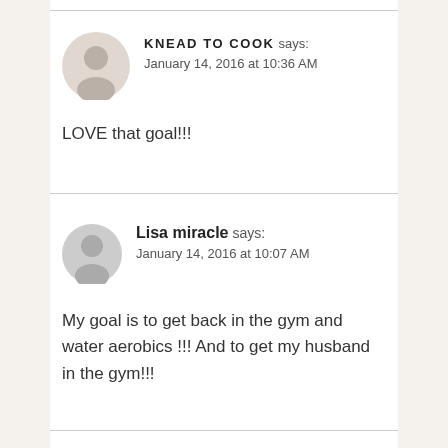KNEAD TO COOK says:
January 14, 2016 at 10:36 AM
LOVE that goal!!!
Lisa miracle says:
January 14, 2016 at 10:07 AM
My goal is to get back in the gym and water aerobics !!! And to get my husband in the gym!!!